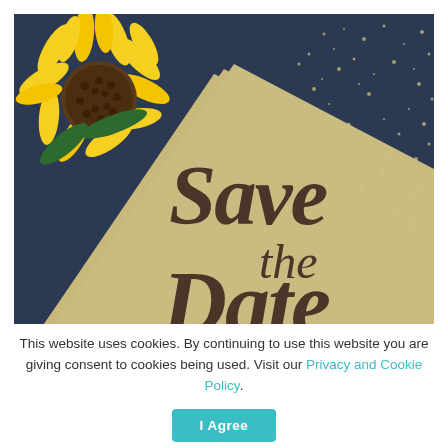[Figure (photo): A 'Save the Date' wedding card photo showing a sunflower in the upper left corner against a dark navy blue background with gold/beige diamond shape containing the text 'Save the Date' in decorative script. Gold glitter spray in the upper right.]
This website uses cookies. By continuing to use this website you are giving consent to cookies being used. Visit our Privacy and Cookie Policy.